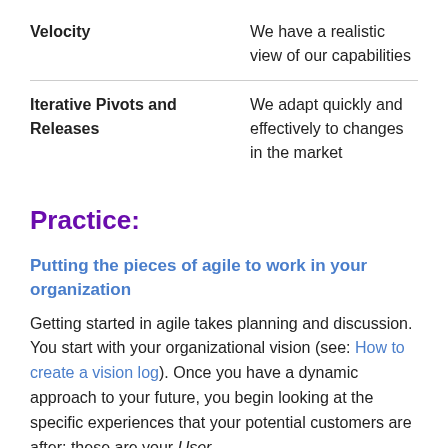|  |  |
| --- | --- |
| Velocity | We have a realistic view of our capabilities |
| Iterative Pivots and Releases | We adapt quickly and effectively to changes in the market |
Practice:
Putting the pieces of agile to work in your organization
Getting started in agile takes planning and discussion. You start with your organizational vision (see: How to create a vision log). Once you have a dynamic approach to your future, you begin looking at the specific experiences that your potential customers are after; these are your User